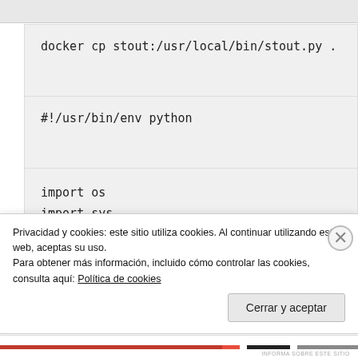docker cp stout:/usr/local/bin/stout.py .
#!/usr/bin/env python
import os
import sys
import socket
import base64
from datetime import datetime
Privacidad y cookies: este sitio utiliza cookies. Al continuar utilizando esta web, aceptas su uso.
Para obtener más información, incluido cómo controlar las cookies, consulta aquí: Política de cookies
Cerrar y aceptar